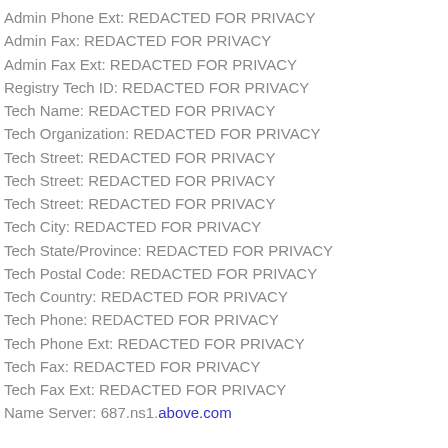Admin Phone Ext: REDACTED FOR PRIVACY
Admin Fax: REDACTED FOR PRIVACY
Admin Fax Ext: REDACTED FOR PRIVACY
Registry Tech ID: REDACTED FOR PRIVACY
Tech Name: REDACTED FOR PRIVACY
Tech Organization: REDACTED FOR PRIVACY
Tech Street: REDACTED FOR PRIVACY
Tech Street: REDACTED FOR PRIVACY
Tech Street: REDACTED FOR PRIVACY
Tech City: REDACTED FOR PRIVACY
Tech State/Province: REDACTED FOR PRIVACY
Tech Postal Code: REDACTED FOR PRIVACY
Tech Country: REDACTED FOR PRIVACY
Tech Phone: REDACTED FOR PRIVACY
Tech Phone Ext: REDACTED FOR PRIVACY
Tech Fax: REDACTED FOR PRIVACY
Tech Fax Ext: REDACTED FOR PRIVACY
Name Server: 687.ns1.above.com